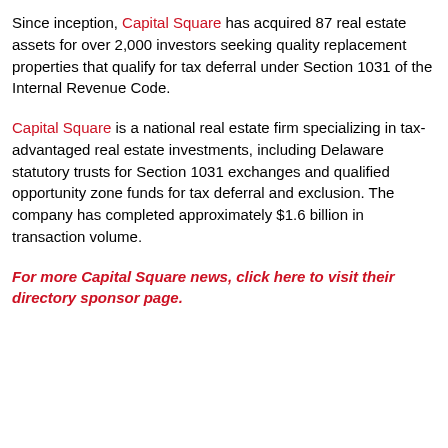Since inception, Capital Square has acquired 87 real estate assets for over 2,000 investors seeking quality replacement properties that qualify for tax deferral under Section 1031 of the Internal Revenue Code.
Capital Square is a national real estate firm specializing in tax-advantaged real estate investments, including Delaware statutory trusts for Section 1031 exchanges and qualified opportunity zone funds for tax deferral and exclusion. The company has completed approximately $1.6 billion in transaction volume.
For more Capital Square news, click here to visit their directory sponsor page.